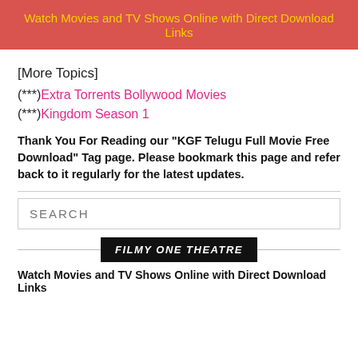Watch Movies and TV Shows Online with Direct Download Links
[More Topics]
(***)Extra Torrents Bollywood Movies
(***)Kingdom Season 1
Thank You For Reading our "KGF Telugu Full Movie Free Download" Tag page. Please bookmark this page and refer back to it regularly for the latest updates.
[Figure (other): Search input field with placeholder text SEARCH]
[Figure (other): Banner with text FILMY ONE THEATRE on dark background with horizontal lines on each side]
Watch Movies and TV Shows Online with Direct Download Links